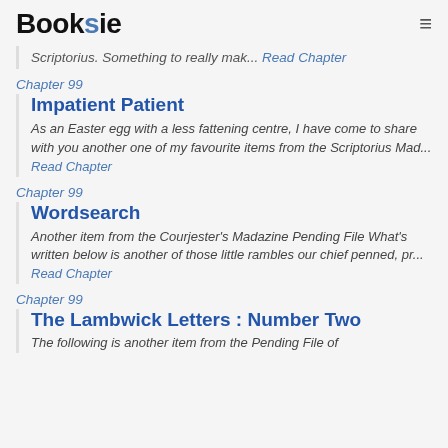Booksie
Scriptorius. Something to really mak... Read Chapter
Chapter 99
Impatient Patient
As an Easter egg with a less fattening centre, I have come to share with you another one of my favourite items from the Scriptorius Mad... Read Chapter
Chapter 99
Wordsearch
Another item from the Courjester's Madazine Pending File What's written below is another of those little rambles our chief penned, pr... Read Chapter
Chapter 99
The Lambwick Letters : Number Two
The following is another item from the Pending File of